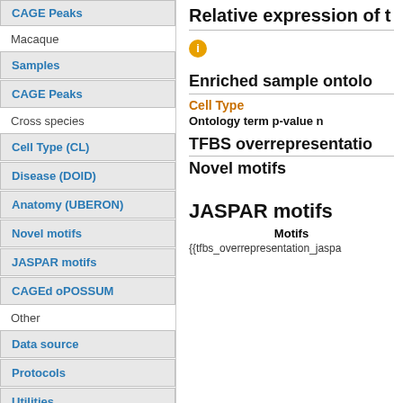CAGE Peaks
Macaque
Samples
CAGE Peaks
Cross species
Cell Type (CL)
Disease (DOID)
Anatomy (UBERON)
Novel motifs
JASPAR motifs
CAGEd oPOSSUM
Other
Data source
Protocols
Utilities
Relative expression of t
ℹ
Enriched sample ontolo
Cell Type
Ontology term p-value n
TFBS overrepresentatio
Novel motifs
JASPAR motifs
Motifs
{{tfbs_overrepresentation_jaspa